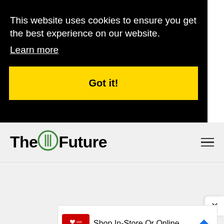This website uses cookies to ensure you get the best experience on our website.
Learn more
Got it!
[Figure (logo): TheFuture website logo with green fork/spoon circle icon between 'The' and 'Future']
[Figure (other): CVS Pharmacy advertisement: Shop In-Store Or Online, CVS]
[Figure (other): Close button X on white rounded rectangle]